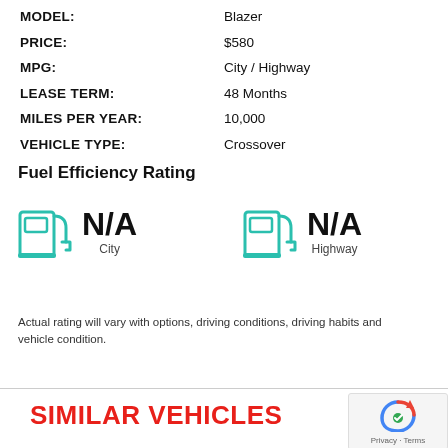| MODEL: | Blazer |
| PRICE: | $580 |
| MPG: | City / Highway |
| LEASE TERM: | 48 Months |
| MILES PER YEAR: | 10,000 |
| VEHICLE TYPE: | Crossover |
Fuel Efficiency Rating
[Figure (infographic): Two fuel pump icons side by side. Left shows N/A City, right shows N/A Highway. Both icons are teal/green outlined fuel pump symbols.]
Actual rating will vary with options, driving conditions, driving habits and vehicle condition.
SIMILAR VEHICLES